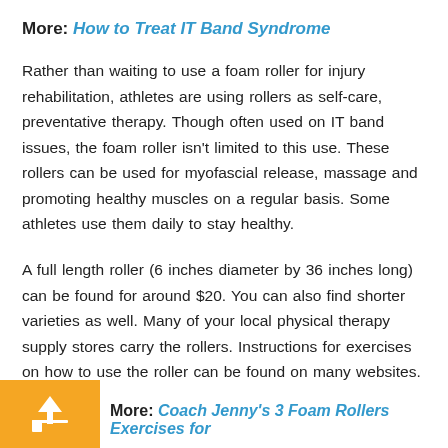More: How to Treat IT Band Syndrome
Rather than waiting to use a foam roller for injury rehabilitation, athletes are using rollers as self-care, preventative therapy. Though often used on IT band issues, the foam roller isn't limited to this use. These rollers can be used for myofascial release, massage and promoting healthy muscles on a regular basis. Some athletes use them daily to stay healthy.
A full length roller (6 inches diameter by 36 inches long) can be found for around $20. You can also find shorter varieties as well. Many of your local physical therapy supply stores carry the rollers. Instructions for exercises on how to use the roller can be found on many websites.
More: Coach Jenny's 3 Foam Rollers Exercises for